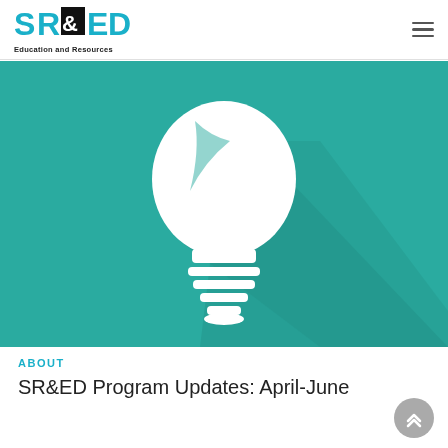SR&ED Education and Resources
[Figure (illustration): Teal/green background with a white flat-design light bulb icon casting a diagonal shadow to the bottom-right.]
ABOUT
SR&ED Program Updates: April-June